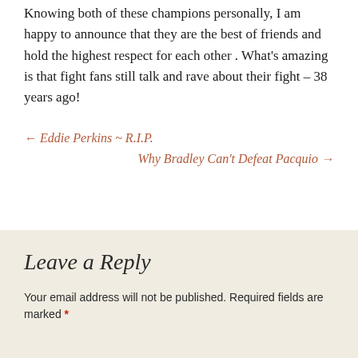Knowing both of these champions personally, I am happy to announce that they are the best of friends and hold the highest respect for each other . What's amazing is that fight fans still talk and rave about their fight – 38 years ago!
← Eddie Perkins ~ R.I.P.
Why Bradley Can't Defeat Pacquio →
Leave a Reply
Your email address will not be published. Required fields are marked *